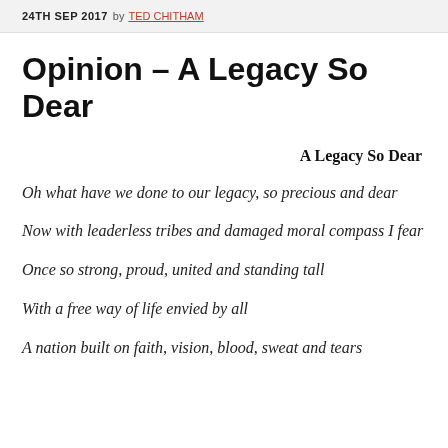24TH SEP 2017 by TED CHITHAM
Opinion – A Legacy So Dear
A Legacy So Dear
Oh what have we done to our legacy, so precious and dear
Now with leaderless tribes and damaged moral compass I fear
Once so strong, proud, united and standing tall
With a free way of life envied by all
A nation built on faith, vision, blood, sweat and tears